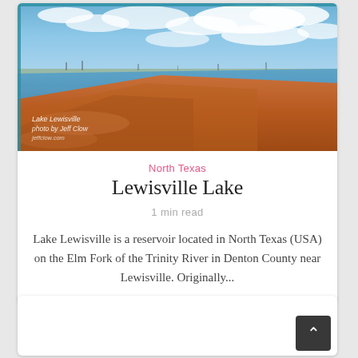[Figure (photo): Photograph of Lake Lewisville showing orange-red sandy shoreline in the foreground, blue water in the middle, flat horizon with sparse trees, and dramatic cloudy blue sky. Photo credit overlay text reads 'Lake Lewisville / photo by Jeff Clow' in bottom-left corner.]
North Texas
Lewisville Lake
1 min read
Lake Lewisville is a reservoir located in North Texas (USA) on the Elm Fork of the Trinity River in Denton County near Lewisville. Originally...